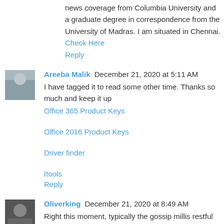news coverage from Columbia University and a graduate degree in correspondence from the University of Madras. I am situated in Chennai. Check Here
Reply
Areeba Malik  December 21, 2020 at 5:11 AM
I have tagged it to read some other time. Thanks so much and keep it up
Office 365 Product Keys
Office 2016 Product Keys
Driver finder
Itools
Reply
Oliverking  December 21, 2020 at 8:49 AM
Right this moment, typically the gossip millis restful mothers